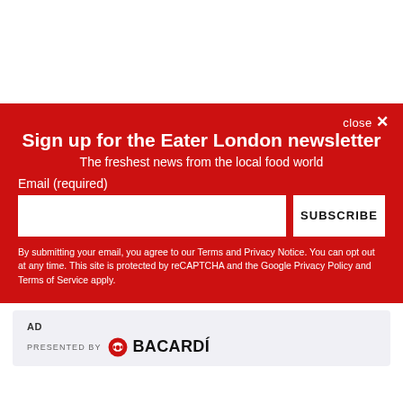Sign up for the Eater London newsletter
The freshest news from the local food world
Email (required)
SUBSCRIBE
By submitting your email, you agree to our Terms and Privacy Notice. You can opt out at any time. This site is protected by reCAPTCHA and the Google Privacy Policy and Terms of Service apply.
[Figure (logo): AD label with PRESENTED BY BACARDÍ logo]